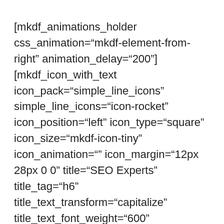[mkdf_animations_holder css_animation="mkdf-element-from-right" animation_delay="200"] [mkdf_icon_with_text icon_pack="simple_line_icons" simple_line_icons="icon-rocket" icon_position="left" icon_type="square" icon_size="mkdf-icon-tiny" icon_animation="" icon_margin="12px 28px 0 0" title="SEO Experts" title_tag="h6" title_text_transform="capitalize" title_text_font_weight="600" custom_icon_size="36" shape_size="85px" icon_color="#ffffff" icon_hover_color="#ffffff" icon_background_color="#323232" icon_hover_background_color="#43ca83" icon_border_width="0" text="Lorem ipsum dolor